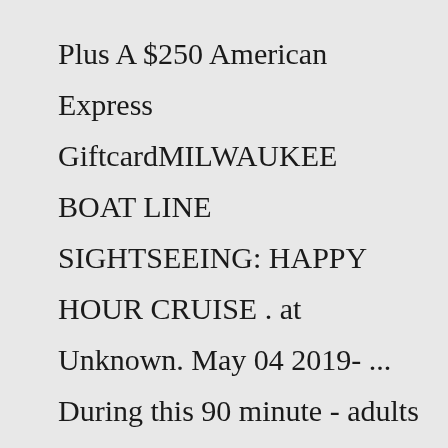Plus A $250 American Express GiftcardMILWAUKEE BOAT LINE SIGHTSEEING: HAPPY HOUR CRUISE . at Unknown. May 04 2019- ... During this 90 minute - adults only cruise, you'll get a taste of an irreverent, insider's guide to Milwaukee with a splash of musical interlude. ... **Drink Package includes 2 beverages! Available online only. Your choice of craft brews, Margarita, rotating